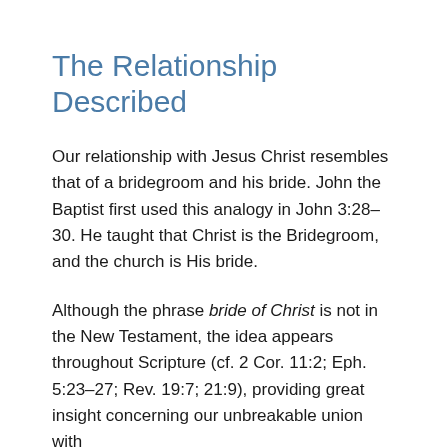The Relationship Described
Our relationship with Jesus Christ resembles that of a bridegroom and his bride. John the Baptist first used this analogy in John 3:28–30. He taught that Christ is the Bridegroom, and the church is His bride.
Although the phrase bride of Christ is not in the New Testament, the idea appears throughout Scripture (cf. 2 Cor. 11:2; Eph. 5:23–27; Rev. 19:7; 21:9), providing great insight concerning our unbreakable union with